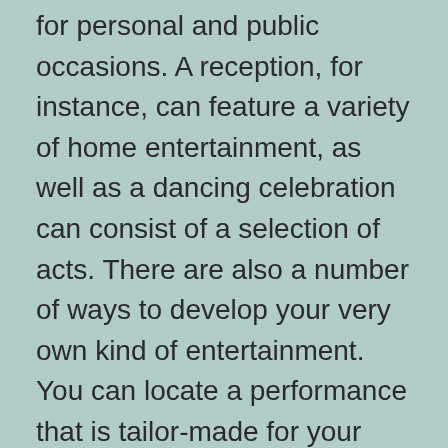for personal and public occasions. A reception, for instance, can feature a variety of home entertainment, as well as a dancing celebration can consist of a selection of acts. There are also a number of ways to develop your very own kind of entertainment. You can locate a performance that is tailor-made for your special event.
A home entertainment may consist of any activity or movement that can involve an audience. It can be an efficiency targeted at countless individuals, a personal reception, or an efficiency targeted at an audience of one. It